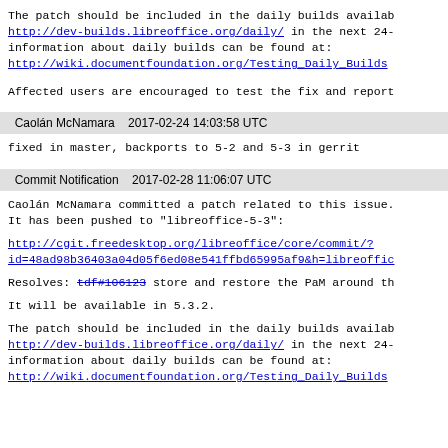The patch should be included in the daily builds availab http://dev-builds.libreoffice.org/daily/ in the next 24- information about daily builds can be found at: http://wiki.documentfoundation.org/Testing_Daily_Builds
Affected users are encouraged to test the fix and report
Caolán McNamara    2017-02-24 14:03:58 UTC
fixed in master, backports to 5-2 and 5-3 in gerrit
Commit Notification    2017-02-28 11:06:07 UTC
Caolán McNamara committed a patch related to this issue. It has been pushed to "libreoffice-5-3":
http://cgit.freedesktop.org/libreoffice/core/commit/? id=48ad98b36403a04d05f6ed08e541ffbd65995af9&h=libreoffic
Resolves: tdf#106123 store and restore the PaM around th
It will be available in 5.3.2.
The patch should be included in the daily builds availab http://dev-builds.libreoffice.org/daily/ in the next 24- information about daily builds can be found at: http://wiki.documentfoundation.org/Testing_Daily_Builds